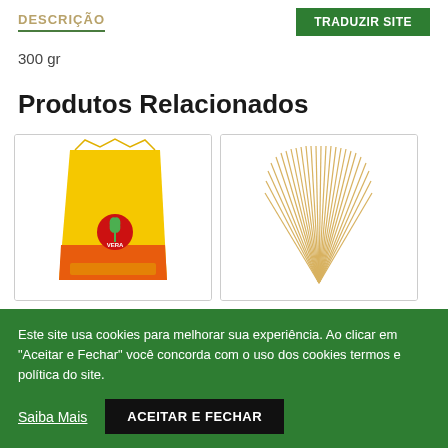DESCRIÇÃO | TRADUZIR SITE
300 gr
Produtos Relacionados
[Figure (photo): Yellow product package with red and orange color accents, featuring a red circular logo with a green plant icon (VERA brand)]
[Figure (photo): Bundle of dry spaghetti pasta strands fanned out on white background]
Este site usa cookies para melhorar sua experiência. Ao clicar em "Aceitar e Fechar" você concorda com o uso dos cookies termos e política do site.
Saiba Mais
ACEITAR E FECHAR